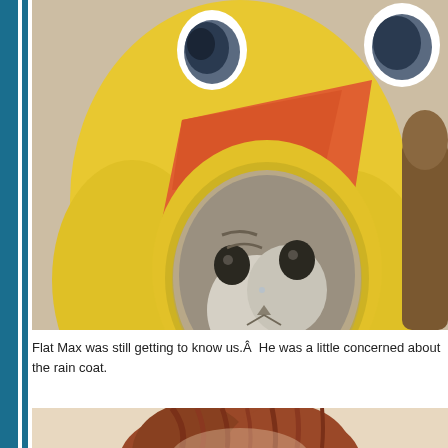[Figure (photo): A cat wearing a yellow duck costume hoodie with orange beak and large cartoon eyes, looking somewhat displeased. The cat is a tabby and is indoors on a beige carpet background.]
Flat Max was still getting to know us.Â  He was a little concerned about the rain coat.
[Figure (photo): Partial view of a person with reddish-brown hair, cropped at bottom of page.]